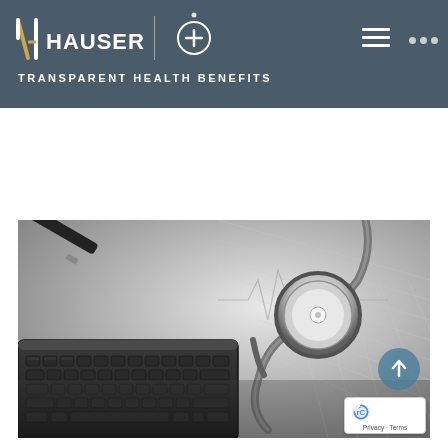HAUSER | TRANSPARENT HEALTH BENEFITS
[Figure (photo): Black and white photo of a stethoscope resting on a spreadsheet/financial document beside a keyboard, representing health benefits administration.]